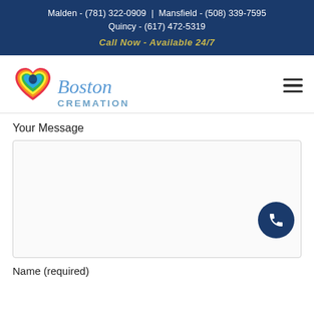Malden - (781) 322-0909 | Mansfield - (508) 339-7595 Quincy - (617) 472-5319
Call Now - Available 24/7
[Figure (logo): Boston Cremation logo with colorful heart icon and cursive 'Boston' text above 'CREMATION' in blue letters]
Your Message
[Figure (other): Large empty message text area input box with light border]
Name (required)